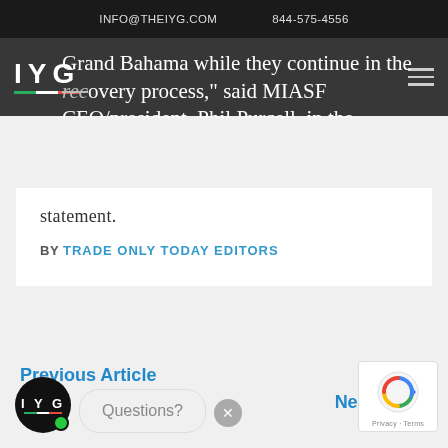INFO@THEIYG.COM    844-575-4556
Grand Bahama while they continue in the recovery process," said MIASF CEO/president, Phil Purcell, in the statement.
BY TRADE ONLY TODAY EDITORS
Previous Article
Next Article